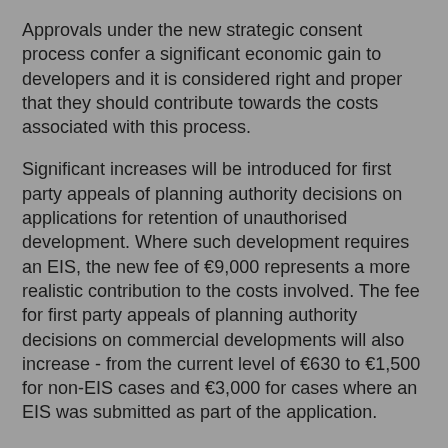Approvals under the new strategic consent process confer a significant economic gain to developers and it is considered right and proper that they should contribute towards the costs associated with this process.
Significant increases will be introduced for first party appeals of planning authority decisions on applications for retention of unauthorised development. Where such development requires an EIS, the new fee of €9,000 represents a more realistic contribution to the costs involved. The fee for first party appeals of planning authority decisions on commercial developments will also increase - from the current level of €630 to €1,500 for non-EIS cases and €3,000 for cases where an EIS was submitted as part of the application.
Modest increases - less than half the rate of inflation in the period since the fees were last reviewed in 2003 - are proposed for third party appeals and referrals - from €210 to €220 in each case.
No change is proposed at present to the €50 fee for the making of submissions and observations on a planning